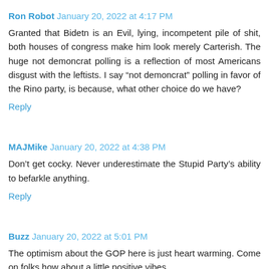Ron Robot  January 20, 2022 at 4:17 PM
Granted that Bidetn is an Evil, lying, incompetent pile of shit, both houses of congress make him look merely Carterish. The huge not demoncrat polling is a reflection of most Americans disgust with the leftists. I say “not demoncrat” polling in favor of the Rino party, is because, what other choice do we have?
Reply
MAJMike  January 20, 2022 at 4:38 PM
Don’t get cocky. Never underestimate the Stupid Party’s ability to befarkle anything.
Reply
Buzz  January 20, 2022 at 5:01 PM
The optimism about the GOP here is just heart warming. Come on folks how about a little positive vibes.